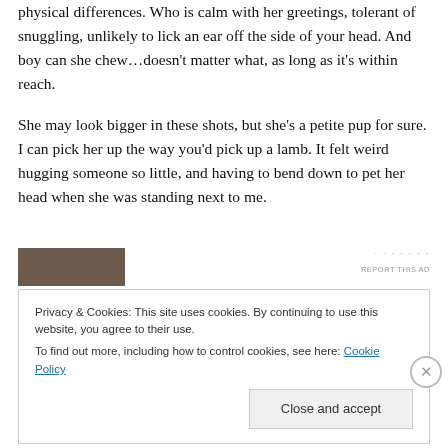physical differences. Who is calm with her greetings, tolerant of snuggling, unlikely to lick an ear off the side of your head. And boy can she chew…doesn't matter what, as long as it's within reach.
She may look bigger in these shots, but she's a petite pup for sure. I can pick her up the way you'd pick up a lamb. It felt weird hugging someone so little, and having to bend down to pet her head when she was standing next to me.
[Figure (photo): Partial image of a dog, dark brown/black coloring, cropped at top]
REPORT THIS AD
Privacy & Cookies: This site uses cookies. By continuing to use this website, you agree to their use.
To find out more, including how to control cookies, see here: Cookie Policy
Close and accept